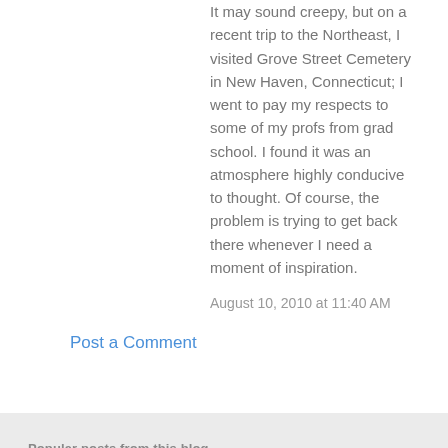It may sound creepy, but on a recent trip to the Northeast, I visited Grove Street Cemetery in New Haven, Connecticut; I went to pay my respects to some of my profs from grad school. I found it was an atmosphere highly conducive to thought. Of course, the problem is trying to get back there whenever I need a moment of inspiration.
August 10, 2010 at 11:40 AM
Post a Comment
Popular posts from this blog
Character Development: Using the Johari Window
- November 28, 2018
[Figure (other): Small thumbnail image showing a table or chart related to the Johari Window character development post]
In my last post, Character Development: the